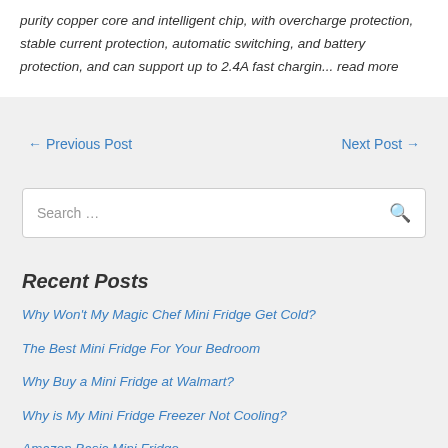purity copper core and intelligent chip, with overcharge protection, stable current protection, automatic switching, and battery protection, and can support up to 2.4A fast chargin... read more
← Previous Post
Next Post →
Search …
Recent Posts
Why Won't My Magic Chef Mini Fridge Get Cold?
The Best Mini Fridge For Your Bedroom
Why Buy a Mini Fridge at Walmart?
Why is My Mini Fridge Freezer Not Cooling?
Amazon Basic Mini Fridge…